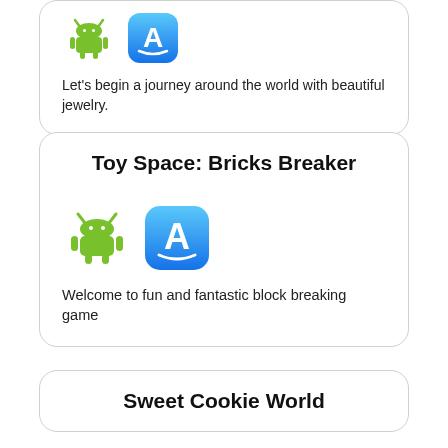[Figure (illustration): Android robot icon and Apple App Store icon, small size, top card]
Let's begin a journey around the world with beautiful jewelry.
Toy Space: Bricks Breaker
[Figure (illustration): Android robot icon and Apple App Store icon, medium size, middle card]
Welcome to fun and fantastic block breaking game
Sweet Cookie World